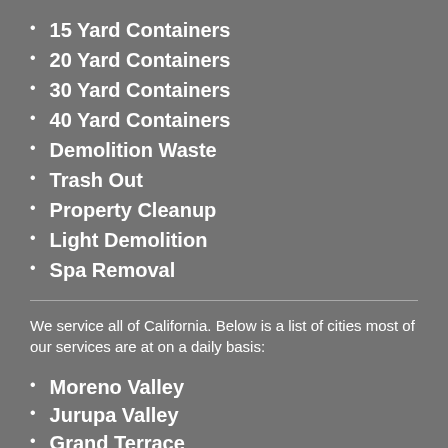15 Yard Containers
20 Yard Containers
30 Yard Containers
40 Yard Containers
Demolition Waste
Trash Out
Property Cleanup
Light Demolition
Spa Removal
We service all of California. Below is a list of cities most of our services are at on a daily basis:
Moreno Valley
Jurupa Valley
Grand Terrace